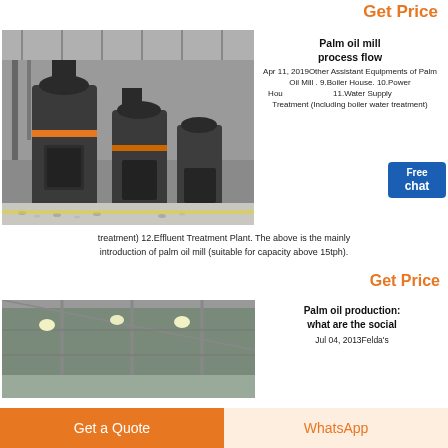Get Price
[Figure (photo): Industrial grinding mill machines in a factory setting, large cylindrical dark-grey machines on concrete floor]
Palm oil mill process flow
Apr 11, 2019Other Assistant Equipments of Palm Oil Mill . 9.Boiler House. 10.Power House. 11.Water Supply & Treatment (Including boiler water treatment) 12.Effluent Treatment Plant. The above is the mainly introduction of palm oil mill (suitable for capacity above 15tph).
Get Price
[Figure (photo): Interior of an industrial building or factory with steel roof structure and lighting]
Palm oil production: what are the social
Jul 04, 2013Felda's
Get a Quote
WhatsApp